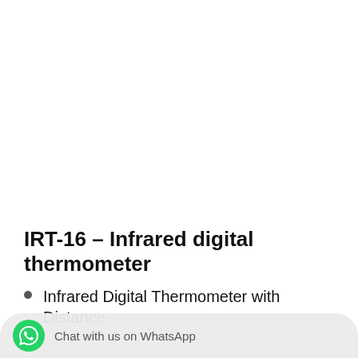IRT-16 – Infrared digital thermometer
Infrared Digital Thermometer with Distance